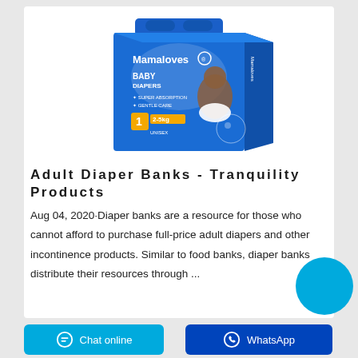[Figure (photo): Mamaloves brand baby diapers box, blue packaging, showing a baby, labeled 'Baby Diapers, Super Absorption, Gentle Care, Size 1, 2-5kg, Unisex']
Adult Diaper Banks - Tranquility Products
Aug 04, 2020·Diaper banks are a resource for those who cannot afford to purchase full-price adult diapers and other incontinence products. Similar to food banks, diaper banks distribute their resources through ...